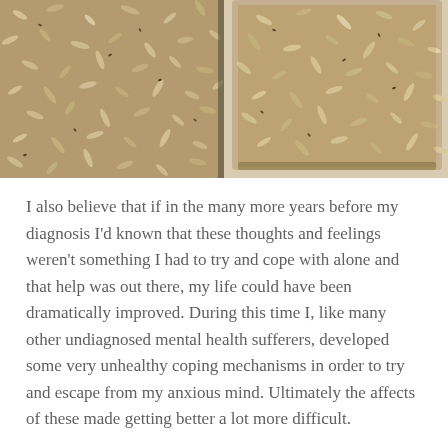[Figure (photo): Two side-by-side photographs showing granola or oat mixture spread on baking trays/pans, viewed from above. Left image shows granola on a flat surface, right image shows granola in a rectangular baking tin.]
I also believe that if in the many more years before my diagnosis I'd known that these thoughts and feelings weren't something I had to try and cope with alone and that help was out there, my life could have been dramatically improved. During this time I, like many other undiagnosed mental health sufferers, developed some very unhealthy coping mechanisms in order to try and escape from my anxious mind. Ultimately the affects of these made getting better a lot more difficult.